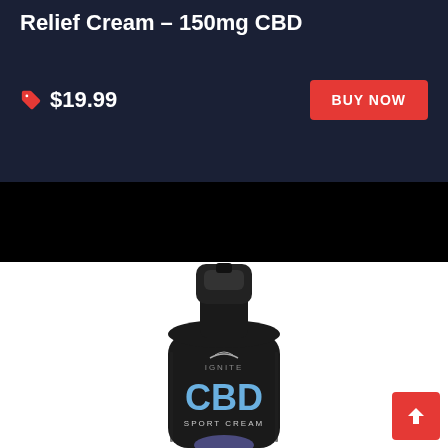Relief Cream – 150mg CBD
$19.99
BUY NOW
[Figure (photo): Black bottle of Ignite CBD Sport Cream, with a pump-style black cap, labeled IGNITE CBD SPORT CREAM in blue and white text on the bottle]